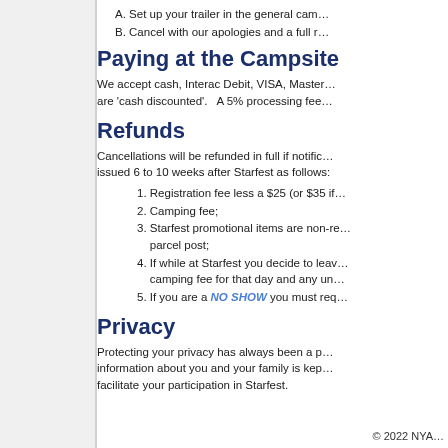A. Set up your trailer in the general cam…
B. Cancel with our apologies and a full r…
Paying at the Campsite
We accept cash, Interac Debit, VISA, Master… are 'cash discounted'.   A 5% processing fee…
Refunds
Cancellations will be refunded in full if notific… issued 6 to 10 weeks after Starfest as follows:
1. Registration fee less a $25 (or $35 if…
2. Camping fee;
3. Starfest promotional items are non-re… parcel post;
4. If while at Starfest you decide to leav… camping fee for that day and any un…
5. If you are a NO SHOW you must req…
Privacy
Protecting your privacy has always been a p… information about you and your family is kep… facilitate your participation in Starfest.
© 2022 NYA…